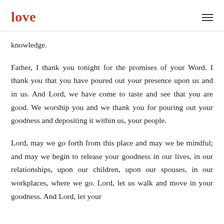love
knowledge.
Father, I thank you tonight for the promises of your Word. I thank you that you have poured out your presence upon us and in us. And Lord, we have come to taste and see that you are good. We worship you and we thank you for pouring out your goodness and depositing it within us, your people.
Lord, may we go forth from this place and may we be mindful; and may we begin to release your goodness in our lives, in our relationships, upon our children, upon our spouses, in our workplaces, where we go. Lord, let us walk and move in your goodness. And Lord, let your